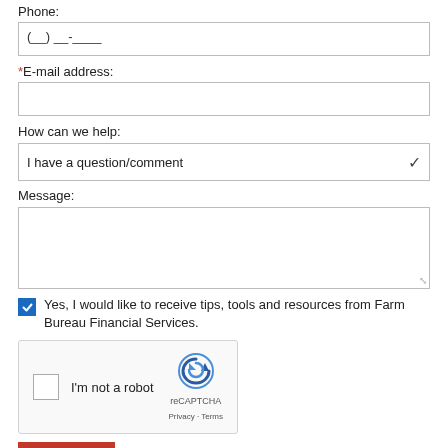Phone:
(__) __-____
*E-mail address:
How can we help:
I have a question/comment
Message:
Yes, I would like to receive tips, tools and resources from Farm Bureau Financial Services.
[Figure (other): reCAPTCHA widget with checkbox 'I'm not a robot', reCAPTCHA logo, Privacy and Terms links]
SUBMIT